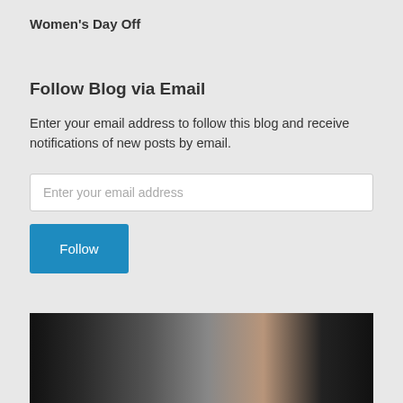Women’s Day Off
Follow Blog via Email
Enter your email address to follow this blog and receive notifications of new posts by email.
[Figure (screenshot): Email input field with placeholder text 'Enter your email address' and a blue Follow button below it]
[Figure (photo): Partial dark photograph at the bottom of the page, showing blurred dark tones with some lighter areas]